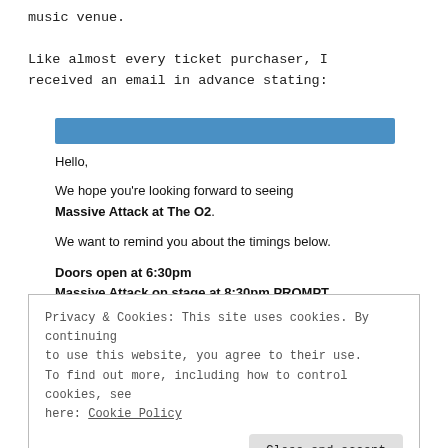music venue.
Like almost every ticket purchaser, I received an email in advance stating:
[Figure (other): Blue horizontal banner/header bar from an email, partially obscured]
Hello,

We hope you're looking forward to seeing Massive Attack at The O2.

We want to remind you about the timings below.

Doors open at 6:30pm
Massive Attack on stage at 8:30pm PROMPT
Privacy & Cookies: This site uses cookies. By continuing to use this website, you agree to their use. To find out more, including how to control cookies, see here: Cookie Policy

Close and accept
In a separate email, we were advised to